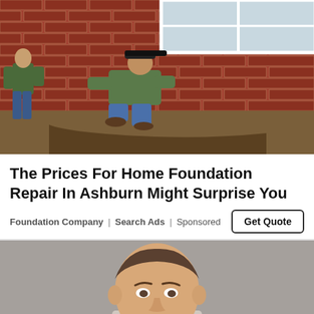[Figure (photo): Two workers doing foundation repair work outside a brick house, digging dirt near the foundation]
The Prices For Home Foundation Repair In Ashburn Might Surprise You
Foundation Company | Search Ads | Sponsored
[Figure (photo): Portrait of a young man with dark hair against a grey background, cropped at chin]